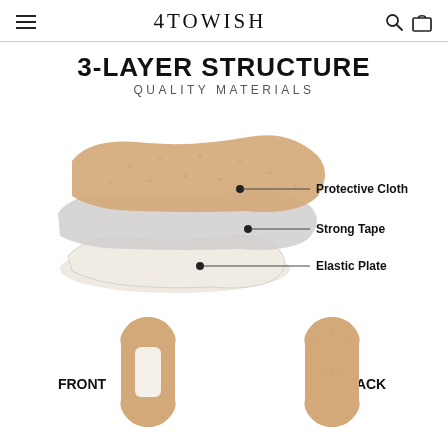4TOWISH
3-LAYER STRUCTURE
QUALITY MATERIALS
[Figure (illustration): Exploded 3-layer diagram of a therapeutic patch showing: top layer (Protective Cloth, tan/beige textured), middle layer (Strong Tape, light gray), bottom layer (Elastic Plate, white/off-white), with callout lines and labels for each layer.]
[Figure (illustration): Two views of the patch product: FRONT view (tan textured patch with white elastic plate insert visible, hourglass/bone shape) and BACK view (tan textured patch, hourglass/bone shape, plain back).]